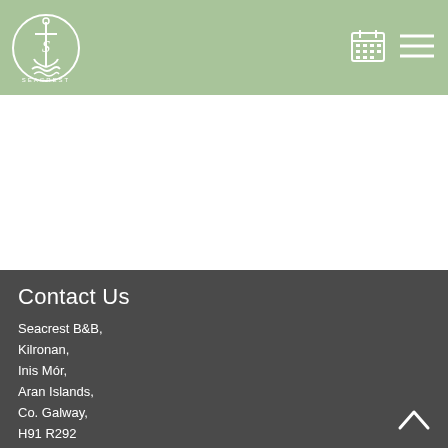[Figure (logo): Seacrest B&B circular logo with anchor and waves, white on sage green background]
[Figure (other): Calendar/booking icon (white grid calendar) in top right header area]
[Figure (other): Hamburger menu icon (three horizontal lines) in top right header area]
Contact Us
Seacrest B&B,
Kilronan,
Inis Mór,
Aran Islands,
Co. Galway,
H91 R292
Phone: +353 87 1616 507